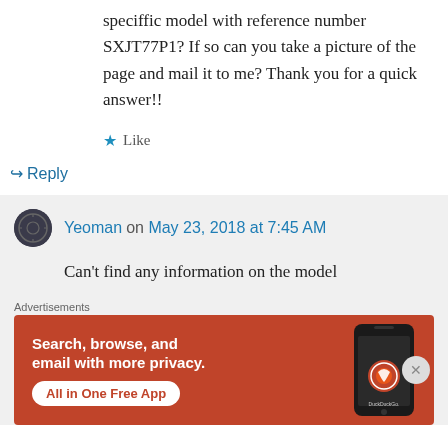speciffic model with reference number SXJT77P1? If so can you take a picture of the page and mail it to me? Thank you for a quick answer!!
★ Like
↪ Reply
Yeoman on May 23, 2018 at 7:45 AM
Can't find any information on the model
Advertisements
[Figure (screenshot): DuckDuckGo advertisement banner: orange background with text 'Search, browse, and email with more privacy. All in One Free App' and a phone image with DuckDuckGo logo]